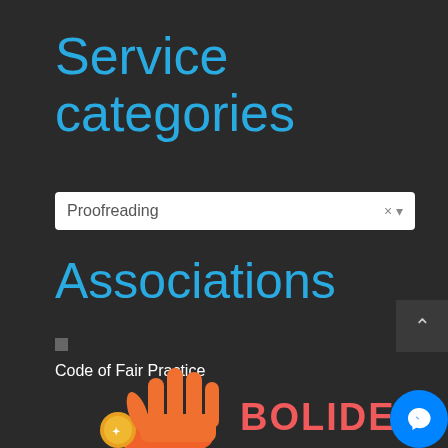Service categories
Proofreading
Associations
Code of Fair Practice
[Figure (logo): Hand holding a coin illustration with BOLIDE text next to it in pink/red color, and a blue circular Facebook Messenger button in bottom right corner]